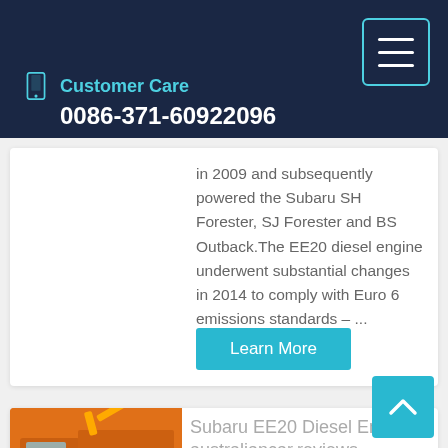Customer Care
0086-371-60922096
in 2009 and subsequently powered the Subaru SH Forester, SJ Forester and BS Outback.The EE20 diesel engine underwent substantial changes in 2014 to comply with Euro 6 emissions standards – ...
Learn More
Subaru EE20 Diesel Engine - australiancar.reviews